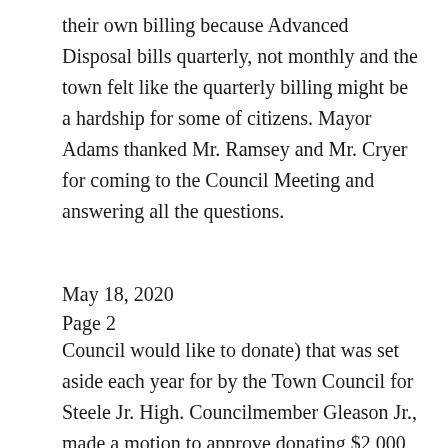their own billing because Advanced Disposal bills quarterly, not monthly and the town felt like the quarterly billing might be a hardship for some of citizens. Mayor Adams thanked Mr. Ramsey and Mr. Cryer for coming to the Council Meeting and answering all the questions.
May 18, 2020
Page 2
Council would like to donate) that was set aside each year for by the Town Council for Steele Jr. High. Councilmember Gleason Jr., made a motion to approve donating $2,000 to Steele Jr. High for paint